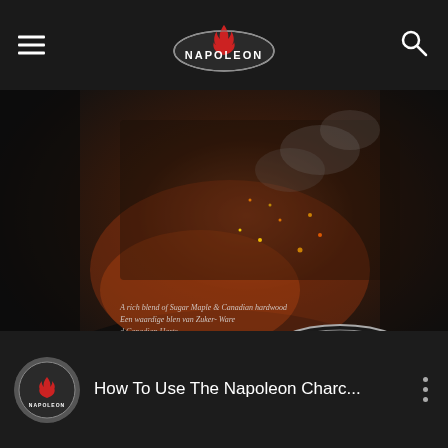Napoleon (navigation bar with logo)
[Figure (photo): Napoleon branded charcoal bag product photo showing a dark bag with Sugar Maple & Canadian hardwood branding, a steam locomotive graphic, sparks, and the Napoleon logo with flame emblem]
[Figure (screenshot): YouTube video preview thumbnail titled 'How To Use The Napoleon Charc...' with Napoleon channel icon and a three-dot menu button, showing a charcoal grill accessory in snow]